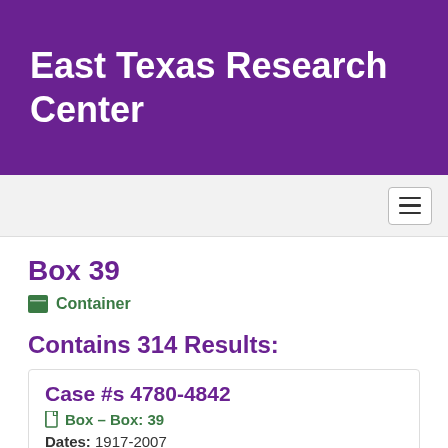East Texas Research Center
Box 39
Container
Contains 314 Results:
Case #s 4780-4842
Box – Box: 39
Dates: 1917-2007
Found in: East Texas Research Center | ETRC A...